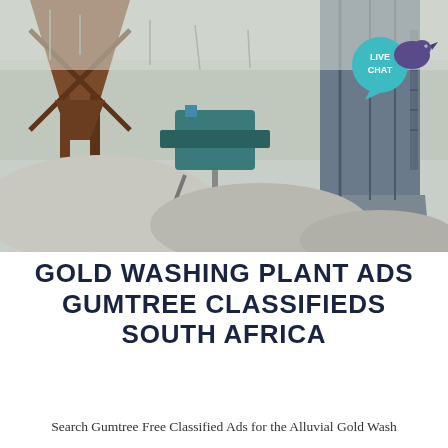[Figure (photo): Industrial gold washing plant equipment with large metal hoppers/silos on legs, conveyor machinery in the center (blue/teal colored), grey material (ore/gravel) piled beneath the hoppers, set in a winter outdoor environment with bare trees in the background. A 'LIVE CHAT' badge with a teal speech bubble and a purple bird icon appears in the upper right corner.]
GOLD WASHING PLANT ADS GUMTREE CLASSIFIEDS SOUTH AFRICA
Search Gumtree Free Classified Ads for the Alluvial Gold Wash